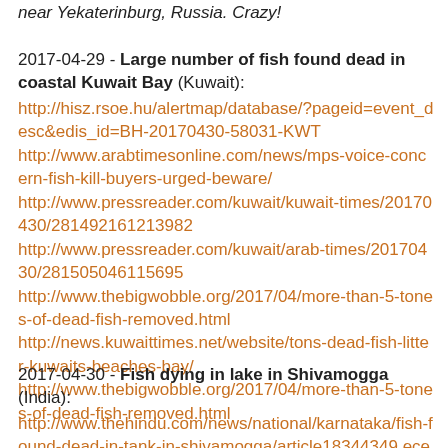near Yekaterinburg, Russia. Crazy!
2017-04-29 - Large number of fish found dead in coastal Kuwait Bay (Kuwait): http://hisz.rsoe.hu/alertmap/database/?pageid=event_desc&edis_id=BH-20170430-58031-KWT http://www.arabtimesonline.com/news/mps-voice-concern-fish-kill-buyers-urged-beware/ http://www.pressreader.com/kuwait/kuwait-times/20170430/281492161213982 http://www.pressreader.com/kuwait/arab-times/20170430/281505046115695 http://www.thebigwobble.org/2017/04/more-than-5-tones-of-dead-fish-removed.html http://news.kuwaittimes.net/website/tons-dead-fish-litter-kuwaits-beaches-bay/ http://www.thebigwobble.org/2017/04/more-than-5-tones-of-dead-fish-removed.html
2017-04-30 - Fish dying in lake in Shivamogga (India): http://www.thehindu.com/news/national/karnataka/fish-found-dead-in-tank-in-shivamogga/article18344349.ece